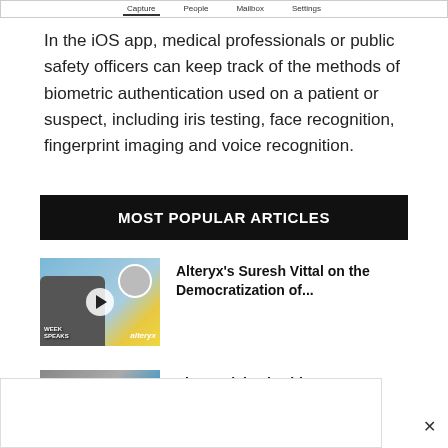[Figure (screenshot): iOS app navigation bar showing Capture, People, Mailbox, Settings tabs]
In the iOS app, medical professionals or public safety officers can keep track of the methods of biometric authentication used on a patient or suspect, including iris testing, face recognition, fingerprint imaging and voice recognition.
MOST POPULAR ARTICLES
[Figure (photo): Thumbnail image for article about Alteryx's Suresh Vittal with play button overlay, showing two people and the Alteryx logo]
Alteryx's Suresh Vittal on the Democratization of...
[Figure (photo): Thumbnail image for article about Visa's Michael Jabbara]
Visa's Michael Jabbara on